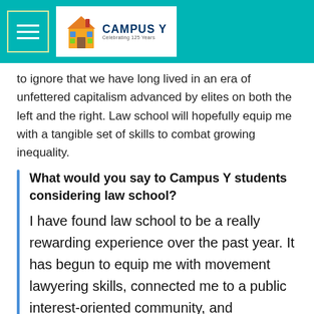Campus Y — Celebrating 125 Years
to ignore that we have long lived in an era of unfettered capitalism advanced by elites on both the left and the right. Law school will hopefully equip me with a tangible set of skills to combat growing inequality.
What would you say to Campus Y students considering law school?
I have found law school to be a really rewarding experience over the past year. It has begun to equip me with movement lawyering skills, connected me to a public interest-oriented community, and challenged me to think in new ways. I urge everyone to